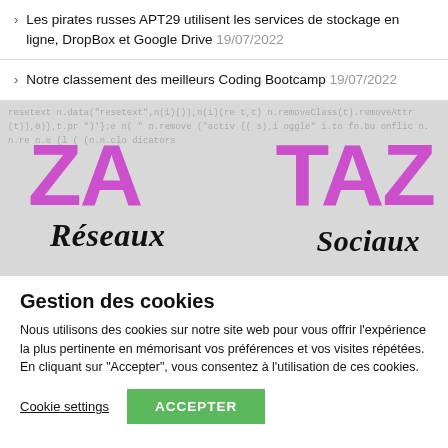Les pirates russes APT29 utilisent les services de stockage en ligne, DropBox et Google Drive 19/07/2022
Notre classement des meilleurs Coding Bootcamp 19/07/2022
[Figure (screenshot): ZATAZ Réseaux Sociaux banner with code background and magenta/pink ZATAZ text overlay]
Gestion des cookies
Nous utilisons des cookies sur notre site web pour vous offrir l'expérience la plus pertinente en mémorisant vos préférences et vos visites répétées. En cliquant sur "Accepter", vous consentez à l'utilisation de ces cookies.
Cookie settings   ACCEPTER